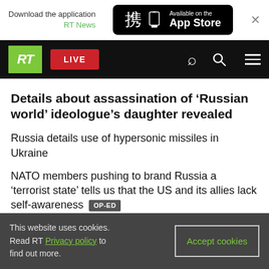Download the application RT News — Available on the App Store
[Figure (screenshot): RT website navigation bar with green RT logo, red LIVE button, search and menu icons on black background]
Details about assassination of ‘Russian world’ ideologue’s daughter revealed
Russia details use of hypersonic missiles in Ukraine
NATO members pushing to brand Russia a ‘terrorist state’ tells us that the US and its allies lack self-awareness  OP-ED
This website uses cookies. Read RT Privacy policy to find out more.